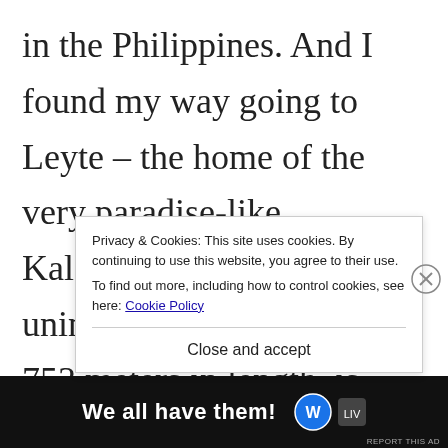in the Philippines. And I found my way going to Leyte – the home of the very paradise-like Kalanggaman Island. This uninhabited island that is 753 meters in length, is now considered a
Privacy & Cookies: This site uses cookies. By continuing to use this website, you agree to their use.
To find out more, including how to control cookies, see here: Cookie Policy
Close and accept
[Figure (other): Dark advertisement bar at bottom with text 'We all have them!' and a logo, with report this ad label]